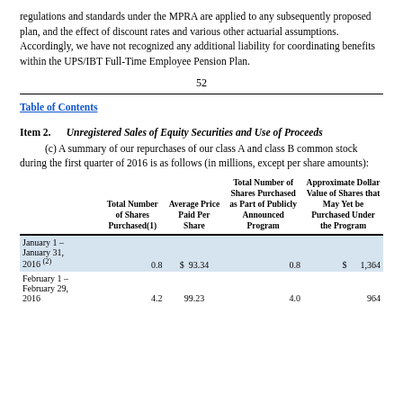regulations and standards under the MPRA are applied to any subsequently proposed plan, and the effect of discount rates and various other actuarial assumptions. Accordingly, we have not recognized any additional liability for coordinating benefits within the UPS/IBT Full-Time Employee Pension Plan.
52
Table of Contents
Item 2.    Unregistered Sales of Equity Securities and Use of Proceeds
(c) A summary of our repurchases of our class A and class B common stock during the first quarter of 2016 is as follows (in millions, except per share amounts):
|  | Total Number of Shares Purchased(1) | Average Price Paid Per Share | Total Number of Shares Purchased as Part of Publicly Announced Program | Approximate Dollar Value of Shares that May Yet be Purchased Under the Program |
| --- | --- | --- | --- | --- |
| January 1 – January 31, 2016 (2) | 0.8 | $ 93.34 | 0.8 | $ 1,364 |
| February 1 – February 29, 2016 | 4.2 | 99.23 | 4.0 | 964 |